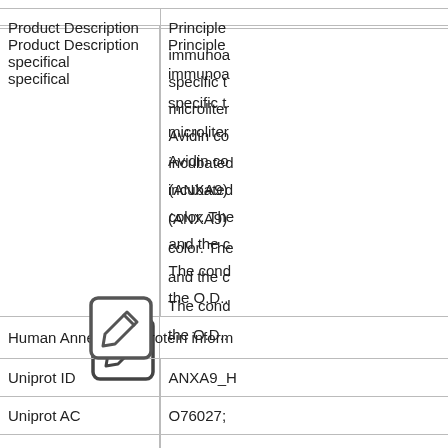| Field | Value |
| --- | --- |
| Storage | Store the... |
| Product Description specifical | Principle...
immunoassay...
specific t...
microtiter...
Avidin co...
incubated...
(ANXA9)...
color. The...
and the c...
The conc...
the O.D.... |
| Human Annexin A9 Protein inform |  |
| Uniprot ID | ANXA9_H... |
| Uniprot AC | O76027; |
| UniGene | Hs.834... |